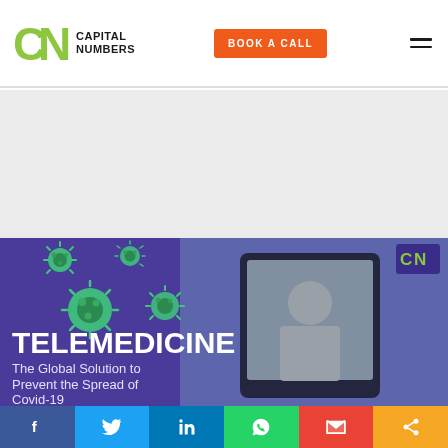Capital Numbers | BOOK A CALL
[Figure (illustration): Gray placeholder/ad area below the navigation header]
[Figure (photo): Banner image with purple overlay showing a doctor on a tablet screen with green coronavirus icons. Text reads: TELEMEDICINE - The Global Solution to Prevent the Spread of Covid-19. CN logo in top right corner.]
Social share bar: Facebook, Twitter, LinkedIn, WhatsApp, Gmail, Share